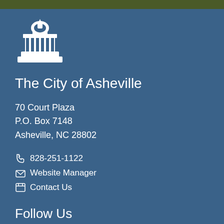[Figure (logo): City of Asheville building/capitol icon in white on blue background]
The City of Asheville
70 Court Plaza
P.O. Box 7148
Asheville, NC 28802
☎ 828-251-1122
✉ Website Manager
☎ Contact Us
Follow Us
[Figure (other): Social media icons: Facebook, Twitter, Instagram, YouTube]